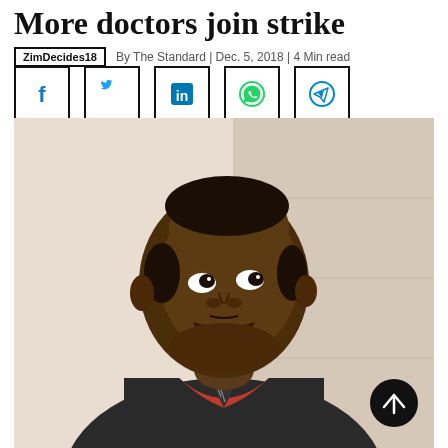More doctors join strike
ZimDecides18   By The Standard | Dec. 5, 2018 | 4 Min read
[Figure (other): Social media share icons: Facebook, Twitter, LinkedIn, WhatsApp, Telegram — each in a square border]
[Figure (photo): Portrait photo of a smiling middle-aged Black man wearing a dark suit jacket over a red shirt and striped tie, looking upward and to the right, photographed indoors against a light beige/cream wall background.]